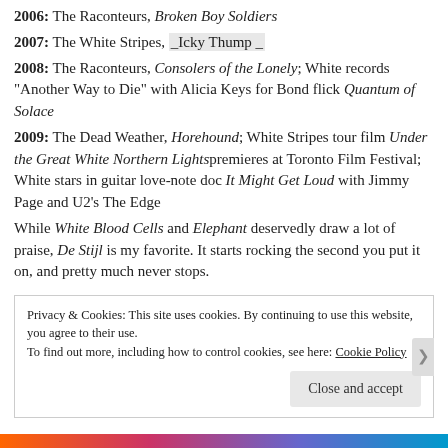2006: The Raconteurs, Broken Boy Soldiers
2007: The White Stripes, _Icky Thump _
2008: The Raconteurs, Consolers of the Lonely; White records "Another Way to Die" with Alicia Keys for Bond flick Quantum of Solace
2009: The Dead Weather, Horehound; White Stripes tour film Under the Great White Northern Lights premieres at Toronto Film Festival; White stars in guitar love-note doc It Might Get Loud with Jimmy Page and U2's The Edge
While White Blood Cells and Elephant deservedly draw a lot of praise, De Stijl is my favorite. It starts rocking the second you put it on, and pretty much never stops.
Privacy & Cookies: This site uses cookies. By continuing to use this website, you agree to their use.
To find out more, including how to control cookies, see here: Cookie Policy